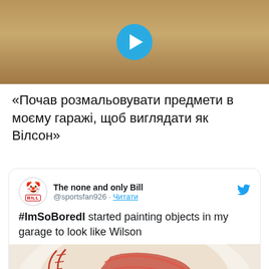[Figure (photo): Video thumbnail showing a child sitting on a floor, with a blue circular play button overlay in the center]
«Почав розмальовувати предмети в моєму гаражі, щоб виглядати як Вілсон»
[Figure (screenshot): Tweet from 'The none and only Bill' (@sportsfan926) with text '#ImSoBoredI started painting objects in my garage to look like Wilson', with an embedded photo of a baseball painted to look like Wilson from Cast Away]